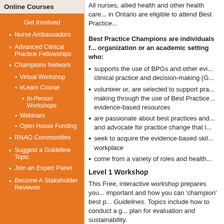Online Courses
Get Involved
Nurse Ambassadors
Advanced Clinical Practice Fellowships
Champions Network
Virtual Workshop
eLearn Course
In-Person Workshops
Webinars
Open House Funding
RNAO Communities
Suggest a Guideline Topic
Join an Expert Panel
Become A Stakeholder Reviewer
All nurses, allied health and other health care professionals in Ontario are eligible to attend Best Practice...
Best Practice Champions are individuals from a health-care organization or an academic setting who:
supports the use of BPGs and other evidence in clinical practice and decision-making (G...
volunteer or, are selected to support practice decision-making through the use of Best Practice... evidence-based resources
are passionate about best practices and... and advocate for practice change that l...
seek to acquire the evidence-based skil... workplace
come from a variety of roles and health...
Level 1 Workshop
This Free, interactive workshop prepares you... important and how you can 'champion' best p... Guidelines. Topics include how to conduct a g... plan for evaluation and sustainability.
See the events calendar for upcoming wo...